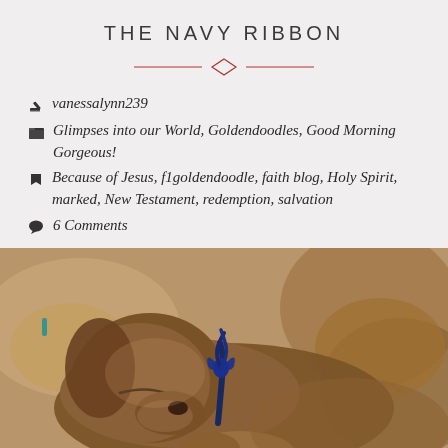THE NAVY RIBBON
✏ vanessalynn239
📁 Glimpses into our World, Goldendoodles, Good Morning Gorgeous!
🏷 Because of Jesus, f1goldendoodle, faith blog, Holy Spirit, marked, New Testament, redemption, salvation
💬 6 Comments
[Figure (photo): A newborn golden/brown puppy sleeping curled up, wearing a navy blue ribbon around its neck. Other puppies visible in the blurred background.]